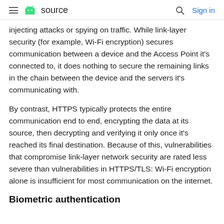≡  source  🔍  Sign in
injecting attacks or spying on traffic. While link-layer security (for example, Wi-Fi encryption) secures communication between a device and the Access Point it's connected to, it does nothing to secure the remaining links in the chain between the device and the servers it's communicating with.
By contrast, HTTPS typically protects the entire communication end to end, encrypting the data at its source, then decrypting and verifying it only once it's reached its final destination. Because of this, vulnerabilities that compromise link-layer network security are rated less severe than vulnerabilities in HTTPS/TLS: Wi-Fi encryption alone is insufficient for most communication on the internet.
Biometric authentication